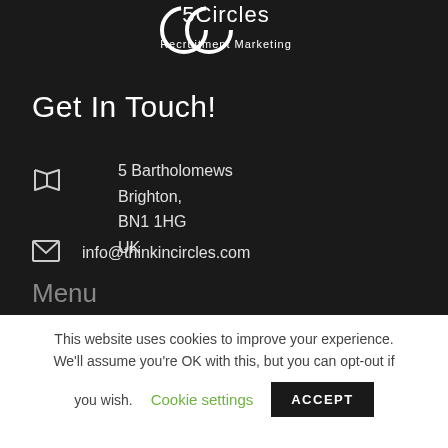[Figure (logo): 5Circles Recruitment Marketing logo — partial circles icon with text 'Recruitment Marketing' below]
Get In Touch!
5 Bartholomews
Brighton,
BN1 1HG
UK
info@thinkincircles.com
Menu
This website uses cookies to improve your experience. We'll assume you're OK with this, but you can opt-out if you wish. Cookie settings ACCEPT